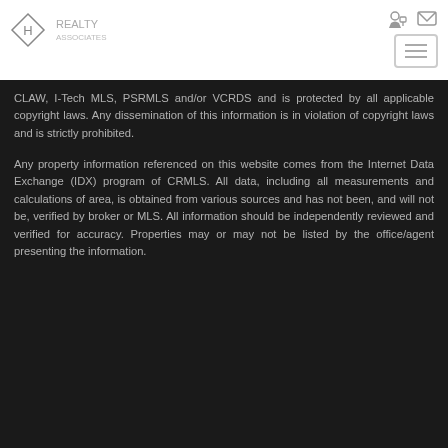Logo and navigation header
CLAW, I-Tech MLS, PSRMLS and/or VCRDS and is protected by all applicable copyright laws. Any dissemination of this information is in violation of copyright laws and is strictly prohibited.
Any property information referenced on this website comes from the Internet Data Exchange (IDX) program of CRMLS. All data, including all measurements and calculations of area, is obtained from various sources and has not been, and will not be, verified by broker or MLS. All information should be independently reviewed and verified for accuracy. Properties may or may not be listed by the office/agent presenting the information.